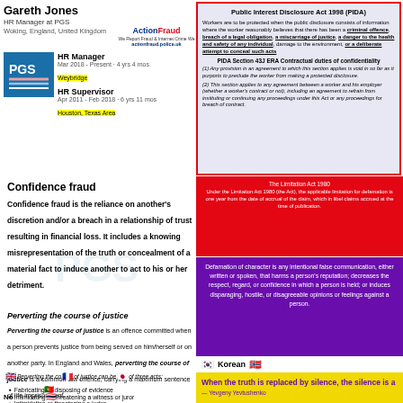Gareth Jones
HR Manager at PGS
Woking, England, United Kingdom
[Figure (logo): PGS company logo - blue square with white wave stripes]
HR Manager
Mar 2018 - Present · 4 yrs 4 mos
Weybridge

HR Supervisor
Apr 2011 - Feb 2018 · 6 yrs 11 mos
Houston, Texas Area
[Figure (logo): Action Fraud logo with actionfraud.police.uk URL]
Public Interest Disclosure Act 1998 (PIDA)
Workers are to be protected when the public disclosure consists of information where the worker reasonably believes that there has been a criminal offence, breach of a legal obligation, a miscarriage of justice, a danger to the health and safety of any individual, damage to the environment, or a deliberate attempt to conceal such acts
PIDA Section 43J ERA Contractual duties of confidentiality
(1) Any provision in an agreement to which this section applies is void in so far as it purports to preclude the worker from making a protected disclosure.
(2) This section applies to any agreement between a worker and his employer (whether a worker's contract or not), including an agreement to refrain from instituting or continuing any proceedings under this Act or any proceedings for breach of contract.
Confidence fraud
Confidence fraud is the reliance on another's discretion and/or a breach in a relationship of trust resulting in financial loss. It includes a knowing misrepresentation of the truth or concealment of a material fact to induce another to act to his or her detriment.
The Limitation Act 1980
Under the Limitation Act 1980 (the Act), the applicable limitation for defamation is one year from the date of accrual of the claim, which in libel claims accrued at the time of publication.
Perverting the course of justice
Perverting the course of justice is an offence committed when a person prevents justice from being served on him/herself or on another party. In England and Wales, perverting the course of justice is a common law offence, carrying a maximum sentence of life imprisonment.
Defamation of character is any intentional false communication, either written or spoken, that harms a person's reputation; decreases the respect, regard, or confidence in which a person is held; or induces disparaging, hostile, or disagreeable opinions or feelings against a person.
When the truth is replaced by silence, the silence is a lie.
— Yevgeny Yevtushenko
Fabricating or disposing of evidence
Intimidating or threatening a witness or juror
Intimidating or threatening a judge